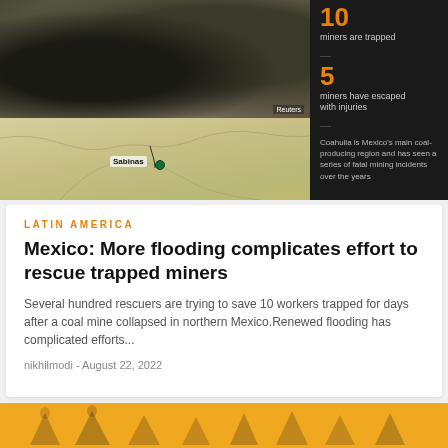[Figure (photo): Aerial photograph of a coal mine site in northern Mexico showing vehicles and black coal dust, credited to Reuters]
[Figure (map): Map of Mexico highlighting Sabinas location in Coahuila state with a green marker]
10 miners are trapped
5 miners have escaped with injuries
Coahuila is Mexico's main coal-producing region and has seen a series of fatal mining incidents over the years
LATIN AMERICA
Mexico: More flooding complicates effort to rescue trapped miners
Several hundred rescuers are trying to save 10 workers trapped for days after a coal mine collapsed in northern Mexico.Renewed flooding has complicated efforts...
nikhilmodi  -  August 22, 2022
[Figure (photo): Partial view of bottom image strip showing tent/camp shapes on orange/yellow background]